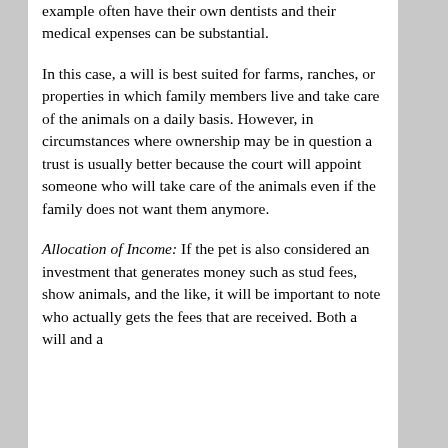example often have their own dentists and their medical expenses can be substantial.
In this case, a will is best suited for farms, ranches, or properties in which family members live and take care of the animals on a daily basis. However, in circumstances where ownership may be in question a trust is usually better because the court will appoint someone who will take care of the animals even if the family does not want them anymore.
Allocation of Income: If the pet is also considered an investment that generates money such as stud fees, show animals, and the like, it will be important to note who actually gets the fees that are received. Both a will and a